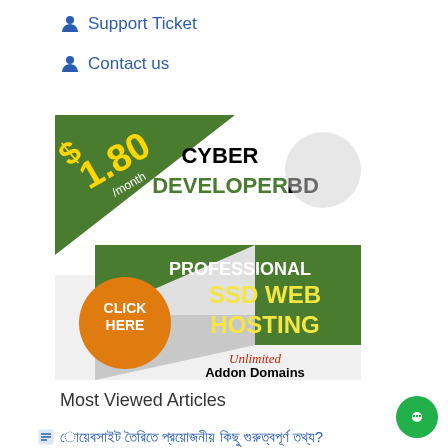Support Ticket
Contact us
[Figure (illustration): Cyber Developer BD web hosting advertisement banner showing $1.80/month SSD Web Hosting with Unlimited Addon Domains and a Click Here button]
Most Viewed Articles
ওয়েবসাইট তৈরিতে প্রয়োজনীয় কিছু গুরুত্বপূর্ণ তথ্য (link)